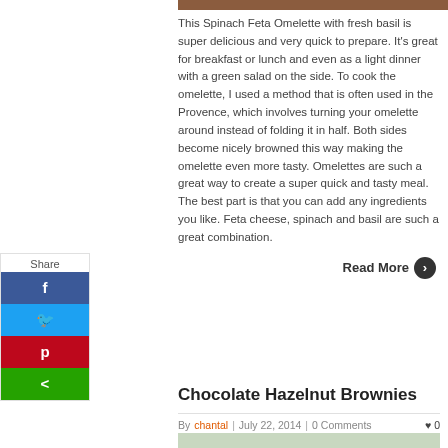[Figure (photo): Partial top edge of a food photo, brown background]
This Spinach Feta Omelette with fresh basil is super delicious and very quick to prepare. It's great for breakfast or lunch and even as a light dinner with a green salad on the side. To cook the omelette, I used a method that is often used in the Provence, which involves turning your omelette around instead of folding it in half. Both sides become nicely browned this way making the omelette even more tasty. Omelettes are such a great way to create a super quick and tasty meal. The best part is that you can add any ingredients you like. Feta cheese, spinach and basil are such a great combination.
Read More →
[Figure (infographic): Social share sidebar with Share label, Facebook, Twitter, Pinterest, and share buttons]
Chocolate Hazelnut Brownies
By chantal | July 22, 2014 | 0 Comments ♥ 0
[Figure (photo): Bottom partial food photo for Chocolate Hazelnut Brownies article]